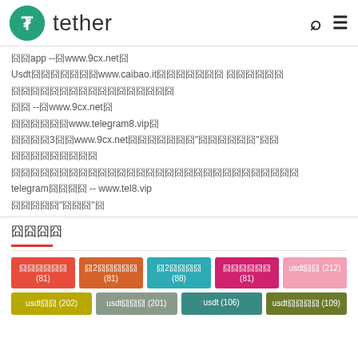tether
囧囧app --囧www.9cx.net囧
Usdt囧囧囧囧囧囧囧www.caibao.it囧囧囧囧囧囧囧 囧囧囧囧囧囧
囧囧囧囧囧囧囧囧囧囧囧囧囧囧囧囧囧
囧囧 --囧www.9cx.net囧
囧囧囧囧囧囧www.telegram8.vip囧
囧囧囧囧3囧囧www.9cx.net囧囧囧囧囧囧囧"囧囧囧囧囧囧"囧囧
囧囧囧囧囧囧囧囧囧
囧囧囧囧囧囧囧囧囧囧囧囧囧囧囧囧囧囧囧囧囧囧囧囧囧囧囧囧囧囧
telegram囧囧囧囧 -- www.tel8.vip
囧囧囧囧囧"囧囧囧"囧
囧囧囧囧
囧囧囧囧囧囧 (81)
囧2囧囧囧囧囧 (81)
囧2囧囧囧囧 (88)
囧囧囧囧囧囧 (81)
usdt囧囧 (212)
usdt囧囧 (202)
usdt囧囧囧 (201)
usdt (106)
usdt囧囧囧囧 (109)